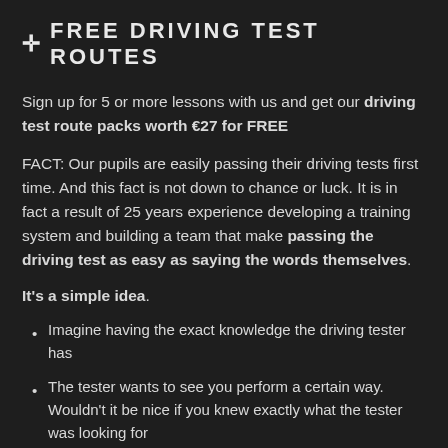✛ FREE DRIVING TEST ROUTES
Sign up for 5 or more lessons with us and get our driving test route packs worth €27 for FREE
FACT: Our pupils are easily passing their driving tests first time. And this fact is not down to chance or luck. It is in fact a result of 25 years experience developing a training system and building a team that make passing the driving test as easy as saying the words themselves.
It's a simple idea.
Imagine having the exact knowledge the driving tester has
The tester wants to see you perform a certain way. Wouldn't it be nice if you knew exactly what the tester was looking for